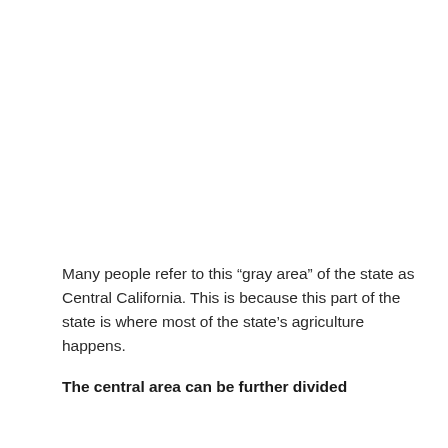Many people refer to this “gray area” of the state as Central California. This is because this part of the state is where most of the state’s agriculture happens.
The central area can be further divided